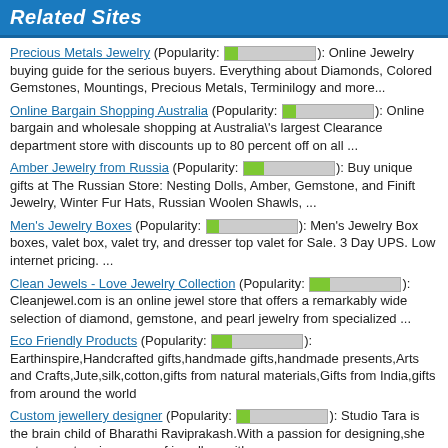Related Sites
Precious Metals Jewelry (Popularity: [bar]): Online Jewelry buying guide for the serious buyers. Everything about Diamonds, Colored Gemstones, Mountings, Precious Metals, Terminilogy and more...
Online Bargain Shopping Australia (Popularity: [bar]): Online bargain and wholesale shopping at Australia's largest Clearance department store with discounts up to 80 percent off on all ...
Amber Jewelry from Russia (Popularity: [bar]): Buy unique gifts at The Russian Store: Nesting Dolls, Amber, Gemstone, and Finift Jewelry, Winter Fur Hats, Russian Woolen Shawls, ...
Men's Jewelry Boxes (Popularity: [bar]): Men's Jewelry Box boxes, valet box, valet try, and dresser top valet for Sale. 3 Day UPS. Low internet pricing. ...
Clean Jewels - Love Jewelry Collection (Popularity: [bar]): Cleanjewel.com is an online jewel store that offers a remarkably wide selection of diamond, gemstone, and pearl jewelry from specialized ...
Eco Friendly Products (Popularity: [bar]): Earthinspire,Handcrafted gifts,handmade gifts,handmade presents,Arts and Crafts,Jute,silk,cotton,gifts from natural materials,Gifts from India,gifts from around the world
Custom jewellery designer (Popularity: [bar]): Studio Tara is the brain child of Bharathi Raviprakash.With a passion for designing,she creates a stunning range of jewellery with ...
Unique & Personalized Name Bracelets (Popularity: [bar]): Jewelry boutique offering custom personalized birthstone name bracelets for mothers, baby & grandmothers. Handmade of sterling silver, Swarovski crystal & ...
Sukra Jewellery (Popularity: [bar]): Sukra jewellery has for over 3 decades been principally only into silver retaling and it is the first in the ...
Premium Watches (Popularity: [bar]): The luxury watch place. Dedicated to man luxury watch. Premium Watches.Prices, specs and